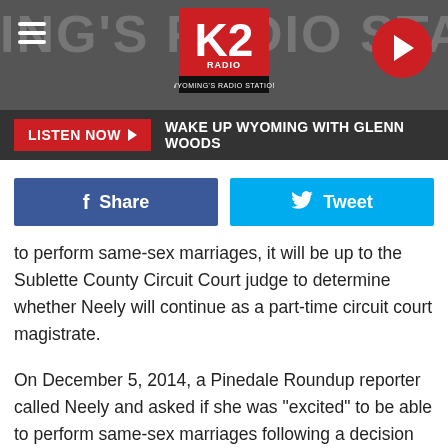K2 Radio — WYOMING'S RADIO STATION
LISTEN NOW  WAKE UP WYOMING WITH GLENN WOODS
Share   Tweet
to perform same-sex marriages, it will be up to the Sublette County Circuit Court judge to determine whether Neely will continue as a part-time circuit court magistrate.
On December 5, 2014, a Pinedale Roundup reporter called Neely and asked if she was "excited" to be able to perform same-sex marriages following a decision from the United States District Court for the District of Wyoming enjoining the state from enforcing or applying any "state law, policy, or practice, as a basis to deny marriage to same-sex couples."
"I will not be able to do them," Neely told the reporter, as